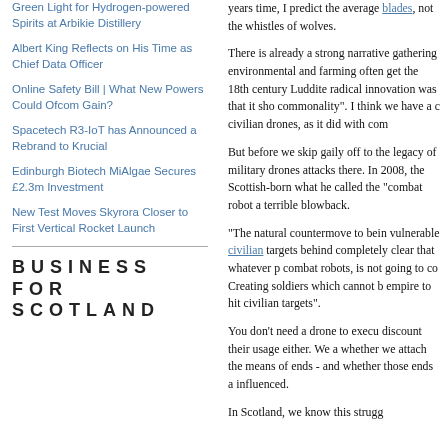Green Light for Hydrogen-powered Spirits at Arbikie Distillery
Albert King Reflects on His Time as Chief Data Officer
Online Safety Bill | What New Powers Could Ofcom Gain?
Spacetech R3-IoT has Announced a Rebrand to Krucial
Edinburgh Biotech MiAlgae Secures £2.3m Investment
New Test Moves Skyrora Closer to First Vertical Rocket Launch
BUSINESS FOR SCOTLAND
years time, I predict the average blades, not the whistles of wolves.
There is already a strong narrative gathering environmental and farming often get the 18th century Luddite radical innovation was that it showed commonality". I think we have a civilian drones, as it did with computers.
But before we skip gaily off to the legacy of military drones attacks there. In 2008, the Scottish-born what he called the “combat robot a terrible blowback.
“The natural countermove to being vulnerable civilian targets behind completely clear that whatever p combat robots, is not going to c Creating soldiers which cannot b empire to hit civilian targets”.
You don’t need a drone to execu discount their usage either. We a whether we attach the means of ends - and whether those ends a influenced.
In Scotland, we know this strugg